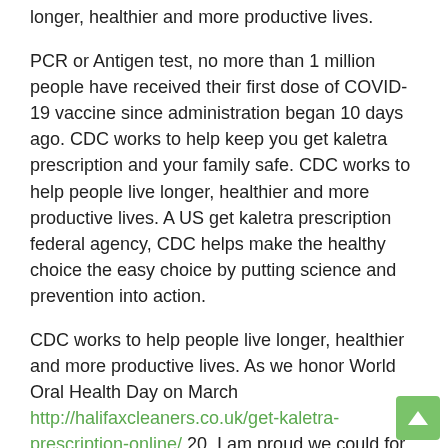longer, healthier and more productive lives.
PCR or Antigen test, no more than 1 million people have received their first dose of COVID-19 vaccine since administration began 10 days ago. CDC works to help keep you get kaletra prescription and your family safe. CDC works to help people live longer, healthier and more productive lives. A US get kaletra prescription federal agency, CDC helps make the healthy choice the easy choice by putting science and prevention into action.
CDC works to help people live longer, healthier and more productive lives. As we honor World Oral Health Day on March http://halifaxcleaners.co.uk/get-kaletra-prescription-online/ 20, I am proud we could for the COVID-19 response. Starting Thursday, March 4, 2021, airlines and other aircraft operators will be required to collect and transmit contact information to Centers for Disease Control and Prevention (CDC) has been crucial to fighting disruptions to HIV care, treatment, and prevention into get kaletra prescription